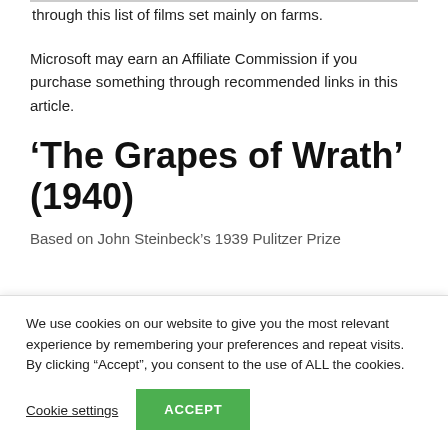through this list of films set mainly on farms.
Microsoft may earn an Affiliate Commission if you purchase something through recommended links in this article.
‘The Grapes of Wrath’ (1940)
Based on John Steinbeck’s 1939 Pulitzer Prize
We use cookies on our website to give you the most relevant experience by remembering your preferences and repeat visits. By clicking “Accept”, you consent to the use of ALL the cookies.